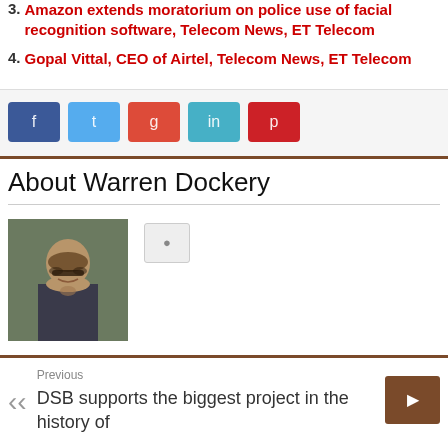3. Amazon extends moratorium on police use of facial recognition software, Telecom News, ET Telecom
4. Gopal Vittal, CEO of Airtel, Telecom News, ET Telecom
About Warren Dockery
[Figure (photo): Profile photo of Warren Dockery, a man with glasses and beard]
Previous
DSB supports the biggest project in the history of